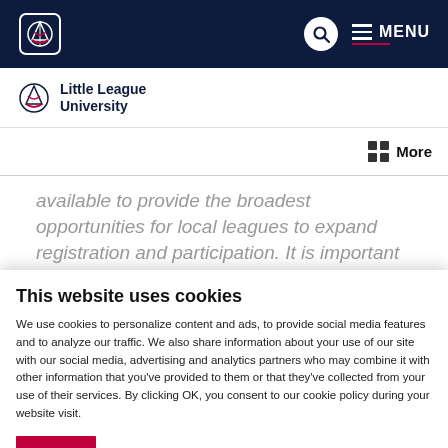Little League University — Navigation bar with logo, search, and menu
[Figure (logo): Little League University logo with baseball diamond icon and text]
☰ More
available to provide the broadest opportunities for local leagues to expand registration and participation. It is important for D.A.s and League
This website uses cookies
We use cookies to personalize content and ads, to provide social media features and to analyze our traffic. We also share information about your use of our site with our social media, advertising and analytics partners who may combine it with other information that you've provided to them or that they've collected from your use of their services. By clicking OK, you consent to our cookie policy during your website visit.
OK